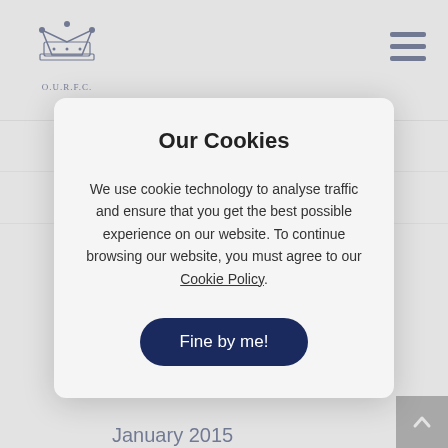OURFC logo and navigation header
November 2015
October 2015
[Figure (other): Cookie consent modal dialog with title 'Our Cookies', body text about cookie policy, a 'Cookie Policy' link, and a 'Fine by me!' button]
January 2015
December 2014
November 2014
October 2014